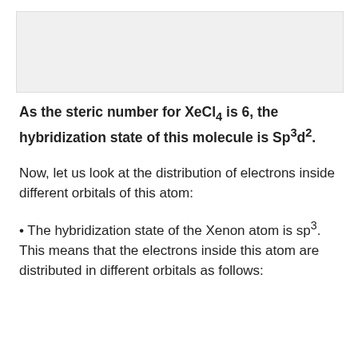[Figure (other): Gray placeholder image area at top of page]
As the steric number for XeCl4 is 6, the hybridization state of this molecule is Sp3d2.
Now, let us look at the distribution of electrons inside different orbitals of this atom:
The hybridization state of the Xenon atom is sp3. This means that the electrons inside this atom are distributed in different orbitals as follows: